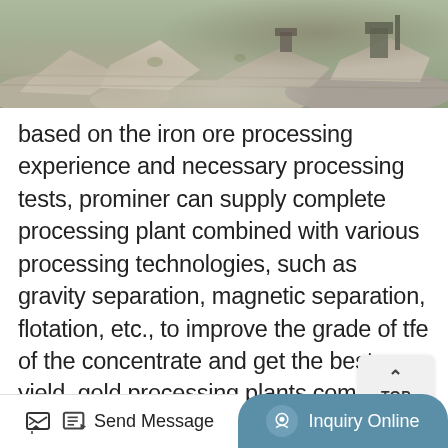[Figure (photo): Aerial or close-up view of a mining/ore processing site with rock piles and heavy machinery]
based on the iron ore processing experience and necessary processing tests, prominer can supply complete processing plant combined with various processing technologies, such as gravity separation, magnetic separation, flotation, etc., to improve the grade of tfe of the concentrate and get the best yield.,gold processing plants complete ore process plant,process tailings filtration plant. the chart/table below are crude budgetary estimations for the cost of major plant equipment. actual cost will vary depending of the process details and detailed equipment list and origin. please use this to decide if your project and dream for becoming a miner or mining
Send Message   Inquiry Online